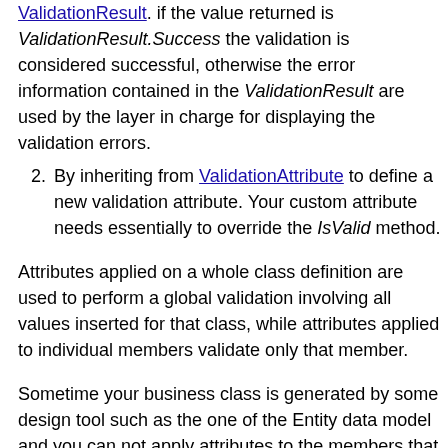ValidationResult. if the value returned is ValidationResult.Success the validation is considered successful, otherwise the error information contained in the ValidationResult are used by the layer in charge for displaying the validation errors.
By inheriting from ValidationAttribute to define a new validation attribute. Your custom attribute needs essentially to override the IsValid method.
Attributes applied on a whole class definition are used to perform a global validation involving all values inserted for that class, while attributes applied to individual members validate only that member.
Sometime your business class is generated by some design tool such as the one of the Entity data model and you can not apply attributes to the members that have been defined by that design tool. In such cases you can define a partial class that...